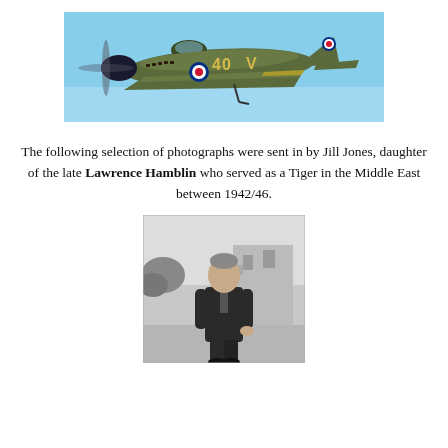[Figure (photo): A World War II era Spitfire aircraft in flight, painted in olive/khaki camouflage with RAF roundel markings and the number '40' and letter 'V' on the fuselage, against a blue sky background.]
The following selection of photographs were sent in by Jill Jones, daughter of the late Lawrence Hamblin who served as a Tiger in the Middle East between 1942/46.
[Figure (photo): A black and white portrait photograph of Lawrence Hamblin, a man in a dark suit, standing outdoors with buildings visible in the background.]